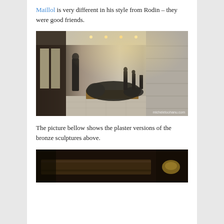Maillol is very different in his style from Rodin – they were good friends.
[Figure (photo): Interior of a gallery/museum room with large bronze sculptures by Maillol, including a large reclining figure on a wooden plinth in the foreground, other smaller figures in the background, tall windows on the left wall, exposed stone wall on the right, and track lighting on the ceiling. Watermark reads: micheletoohanu.com]
The picture bellow shows the plaster versions of the bronze sculptures above.
[Figure (photo): Partially visible photo showing the top of a dark wooden structure or furniture piece, with a small gold/yellow object visible at the right edge, in a dark interior setting.]